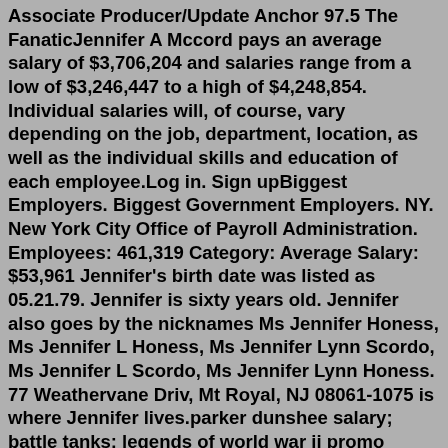Associate Producer/Update Anchor 97.5 The FanaticJennifer A Mccord pays an average salary of $3,706,204 and salaries range from a low of $3,246,447 to a high of $4,248,854. Individual salaries will, of course, vary depending on the job, department, location, as well as the individual skills and education of each employee.Log in. Sign upBiggest Employers. Biggest Government Employers. NY. New York City Office of Payroll Administration. Employees: 461,319 Category: Average Salary: $53,961 Jennifer's birth date was listed as 05.21.79. Jennifer is sixty years old. Jennifer also goes by the nicknames Ms Jennifer Honess, Ms Jennifer L Honess, Ms Jennifer Lynn Scordo, Ms Jennifer L Scordo, Ms Jennifer Lynn Honess. 77 Weathervane Driv, Mt Royal, NJ 08061-1075 is where Jennifer lives.parker dunshee salary; battle tanks: legends of world war ii promo codes; best sunrise spots in san jose; what happened to the millerites; crosley rambler radio; Thanks for watching! Be sure